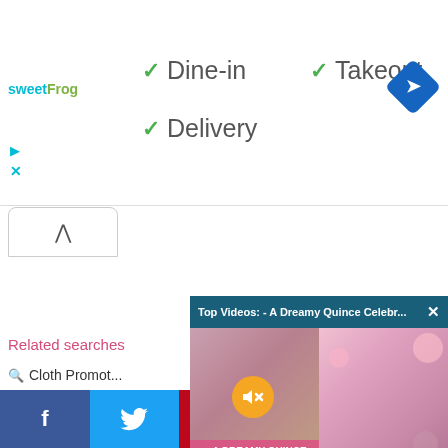[Figure (logo): sweetFrog logo in teal and green]
✓ Dine-in
✓ Takeout
✓ Delivery
[Figure (other): Blue diamond navigation/directions icon]
[Figure (screenshot): Video overlay panel: Top Videos: - A Dreamy Quince Celebr... with close X button, showing A DREAMY QUINCE CELEBRATION text and muted video thumbnails]
Related searche...
Cloth Promot...
Splunk 日本語
[Figure (other): Social share bar: Facebook, Twitter, Pinterest, LinkedIn, Share]